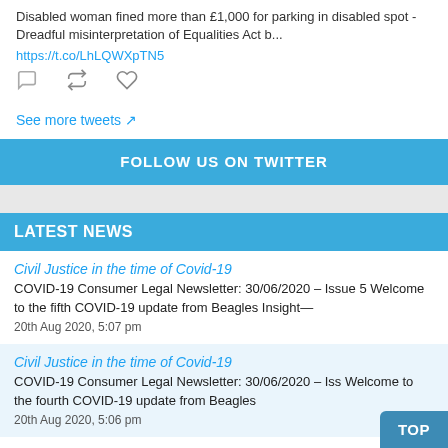Disabled woman fined more than £1,000 for parking in disabled spot - Dreadful misinterpretation of Equalities Act b...
https://t.co/LhLQWXpTN5
See more tweets
FOLLOW US ON TWITTER
LATEST NEWS
Civil Justice in the time of Covid-19
COVID-19 Consumer Legal Newsletter: 30/06/2020 – Issue 5 Welcome to the fifth COVID-19 update from Beagles Insight—
20th Aug 2020, 5:07 pm
Civil Justice in the time of Covid-19
COVID-19 Consumer Legal Newsletter: 30/06/2020 – Iss... Welcome to the fourth COVID-19 update from Beagles...
20th Aug 2020, 5:06 pm